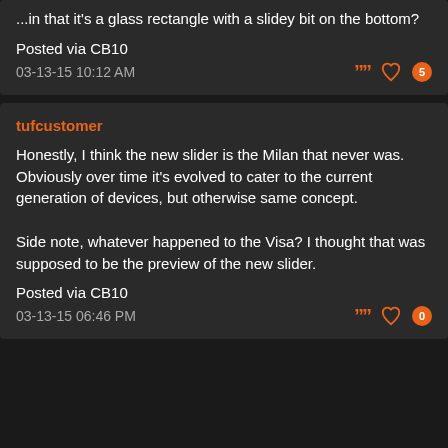...in that it's a glass rectangle with a slidey bit on the bottom?
Posted via CB10
03-13-15 10:12 AM
tufcustomer
Honestly, I think the new slider is the Milan that never was. Obviously over time it's evolved to cater to the current generation of devices, but otherwise same concept.

Side note, whatever happened to the Visa? I thought that was supposed to be the preview of the new slider.
Posted via CB10
03-13-15 06:46 PM